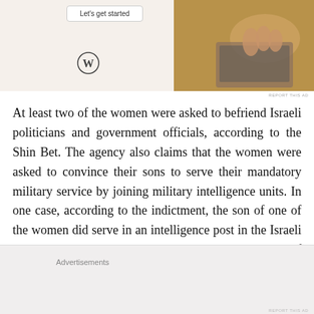[Figure (screenshot): Advertisement banner showing WordPress logo and a person typing on a laptop, with a 'Let's get started' button]
At least two of the women were asked to befriend Israeli politicians and government officials, according to the Shin Bet. The agency also claims that the women were asked to convince their sons to serve their mandatory military service by joining military intelligence units. In one case, according to the indictment, the son of one of the women did serve in an intelligence post in the Israeli military, which allowed his mother to pass a number of military
Advertisements